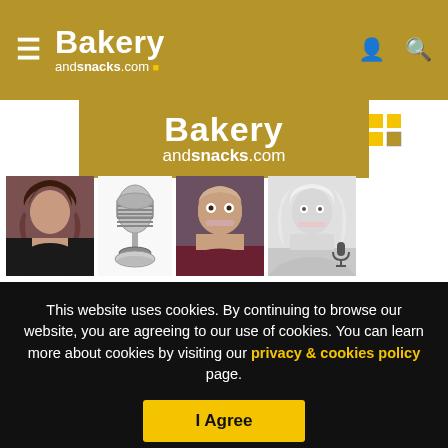Bakery andsnacks.com
[Figure (logo): BakeryAndSnacks.com logo banner with gold background]
[Figure (photo): Podcast episode thumbnails: woman with dark hair, vintage microphone, bald man smiling, blonde woman in black and white, small microphone icon]
This website uses cookies. By continuing to browse our website, you are agreeing to our use of cookies. You can learn more about cookies by visiting our privacy & cookies policy page.
I Agree